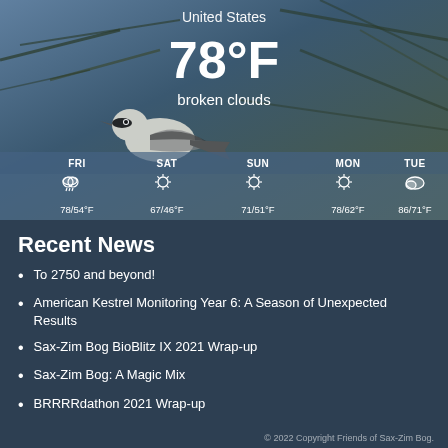[Figure (screenshot): Weather widget showing a bird (loggerhead shrike) perched on branches with a blue sky background. Shows current weather for United States: 78°F, broken clouds. 5-day forecast: FRI 78/54°F (rainy/cloudy), SAT 67/46°F (sunny), SUN 71/51°F (sunny), MON 78/62°F (sunny), TUE 86/71°F (cloudy).]
Recent News
To 2750 and beyond!
American Kestrel Monitoring Year 6: A Season of Unexpected Results
Sax-Zim Bog BioBlitz IX 2021 Wrap-up
Sax-Zim Bog: A Magic Mix
BRRRRdathon 2021 Wrap-up
© 2022 Copyright Friends of Sax-Zim Bog.